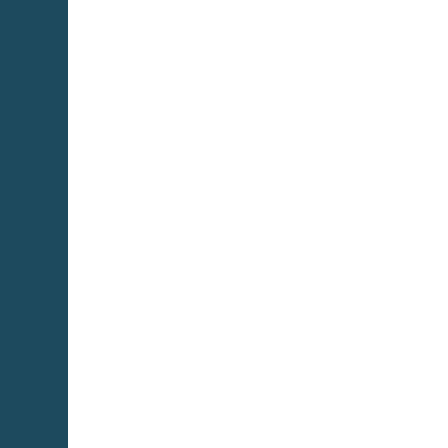[Figure (other): Dark teal left sidebar navigation panel]
[Figure (other): Main white content area with vertical divider]
Gremlin C... All Discip...
IDF Annu...
2nd Euro... 7th - 9th N...
3rd Balle... 31st May...
11th Wor... Opening C... Competiti...